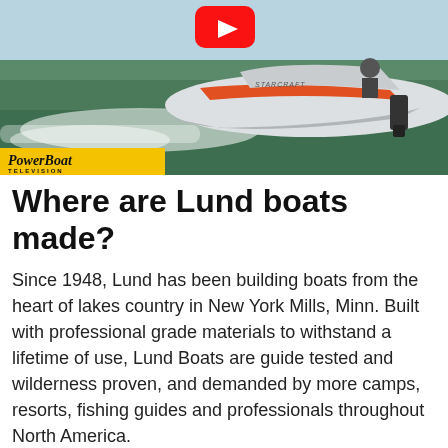[Figure (photo): A Starcraft speedboat racing across water at high speed, with wake spray visible. PowerBoat Television logo in yellow at bottom left. YouTube play button icon overlay at top center.]
Where are Lund boats made?
Since 1948, Lund has been building boats from the heart of lakes country in New York Mills, Minn. Built with professional grade materials to withstand a lifetime of use, Lund Boats are guide tested and wilderness proven, and demanded by more camps, resorts, fishing guides and professionals throughout North America.
How much is a 2021 deck